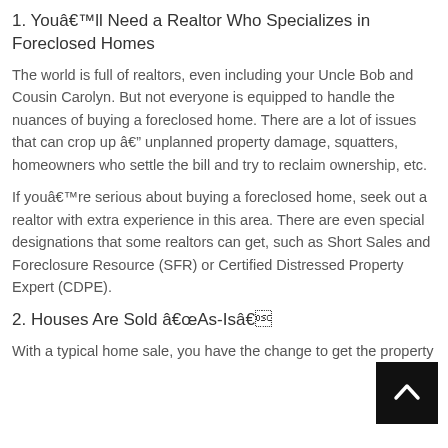1. Youâll Need a Realtor Who Specializes in Foreclosed Homes
The world is full of realtors, even including your Uncle Bob and Cousin Carolyn. But not everyone is equipped to handle the nuances of buying a foreclosed home. There are a lot of issues that can crop up â unplanned property damage, squatters, homeowners who settle the bill and try to reclaim ownership, etc.
If youâre serious about buying a foreclosed home, seek out a realtor with extra experience in this area. There are even special designations that some realtors can get, such as Short Sales and Foreclosure Resource (SFR) or Certified Distressed Property Expert (CDPE).
2. Houses Are Sold âAs-Isâ
With a typical home sale, you have the change to get the property